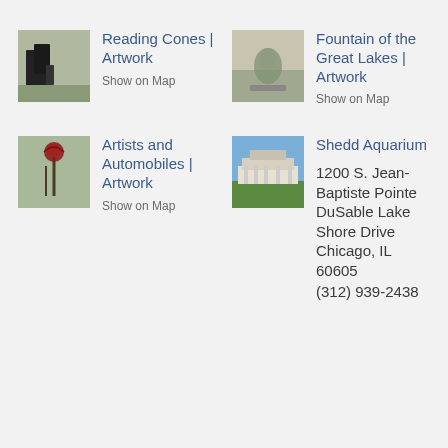[Figure (photo): Black sculptural cones outdoors on grass]
Reading Cones | Artwork
Show on Map
[Figure (photo): Fountain of the Great Lakes sculpture in an indoor gallery]
Fountain of the Great Lakes | Artwork
Show on Map
[Figure (photo): Red flower-like sculpture outdoors]
Artists and Automobiles | Artwork
Show on Map
[Figure (photo): Shedd Aquarium building with columns]
Shedd Aquarium
1200 S. Jean-Baptiste Pointe DuSable Lake Shore Drive Chicago, IL 60605
(312) 939-2438